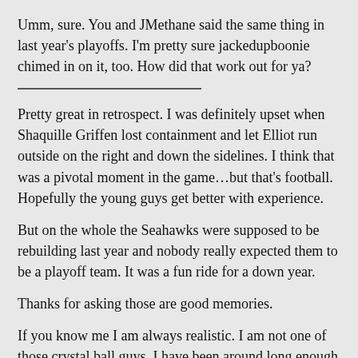Umm, sure. You and JMethane said the same thing in last year's playoffs. I'm pretty sure jackedupboonie chimed in on it, too. How did that work out for ya?
Pretty great in retrospect. I was definitely upset when Shaquille Griffen lost containment and let Elliot run outside on the right and down the sidelines. I think that was a pivotal moment in the game…but that's football. Hopefully the young guys get better with experience.
But on the whole the Seahawks were supposed to be rebuilding last year and nobody really expected them to be a playoff team. It was a fun ride for a down year.
Thanks for asking those are good memories.
If you know me I am always realistic. I am not one of those crystal ball guys. I have been around long enough to know that